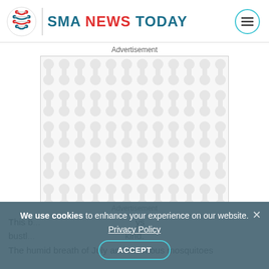SMA NEWS TODAY
Advertisement
[Figure (other): Advertisement placeholder box with repeating dumbbell/molecule pattern in light gray on white background]
Advertisement
This b... ys bustl... kind. The humid breath of July and ravenous mosquitoes ...
We use cookies to enhance your experience on our website. Privacy Policy ACCEPT